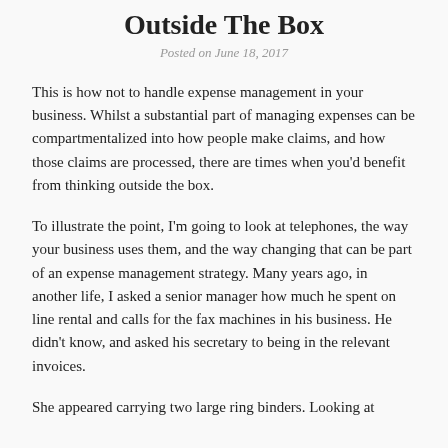Outside The Box
Posted on June 18, 2017
This is how not to handle expense management in your business. Whilst a substantial part of managing expenses can be compartmentalized into how people make claims, and how those claims are processed, there are times when you'd benefit from thinking outside the box.
To illustrate the point, I'm going to look at telephones, the way your business uses them, and the way changing that can be part of an expense management strategy. Many years ago, in another life, I asked a senior manager how much he spent on line rental and calls for the fax machines in his business. He didn't know, and asked his secretary to being in the relevant invoices.
She appeared carrying two large ring binders. Looking at